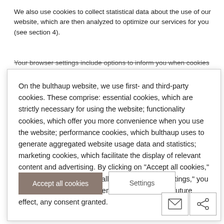We also use cookies to collect statistical data about the use of our website, which are then analyzed to optimize our services for you (see section 4).
Your browser settings include options to inform you when cookies
On the bulthaup website, we use first- and third-party cookies. These comprise: essential cookies, which are strictly necessary for using the website; functionality cookies, which offer you more convenience when you use the website; performance cookies, which bulthaup uses to generate aggregated website usage data and statistics; marketing cookies, which facilitate the display of relevant content and advertising. By clicking on "Accept all cookies," you consent to the use of all cookies. Under "Settings," you can customize your preferences and revoke, for future effect, any consent granted.
Accept all cookies
Settings